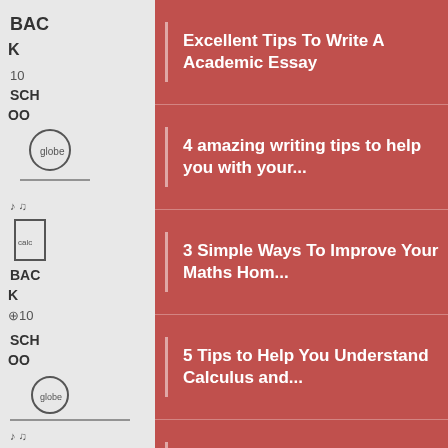[Figure (illustration): Doodle/sketch background on left and right sides with school-themed drawings including text 'BACK', numbers, school items]
Excellent Tips To Write A Academic Essay
4 amazing writing tips to help you with your...
3 Simple Ways To Improve Your Maths Home...
5 Tips to Help You Understand Calculus and...
Tips for better computer science assignment w...
Easy Skills You Can Learn At Home At Any Ag...
5 benefits of using paraphrasing for writing
All around the world, students are struggling to